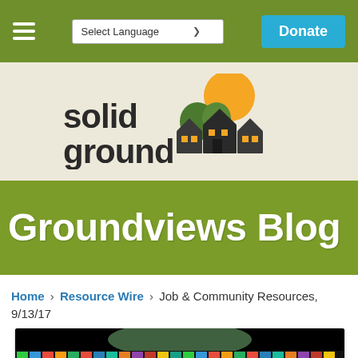☰  Select Language  Donate
[Figure (logo): Solid Ground logo: text 'solid ground' with illustration of houses and orange sun]
Groundviews Blog
Home › Resource Wire › Job & Community Resources, 9/13/17
[Figure (photo): Globe with international flags displayed along the bottom edge, black background]